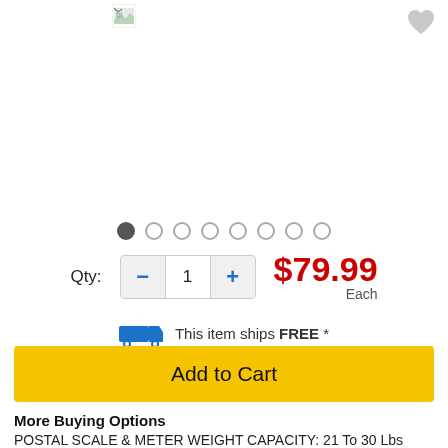[Figure (screenshot): Product image placeholder with broken image icon in upper left and heart/wishlist icon in upper right]
Qty: 1  $79.99 Each
This item ships FREE *
Add to Cart
More Buying Options
POSTAL SCALE & METER WEIGHT CAPACITY: 21 To 30 Lbs